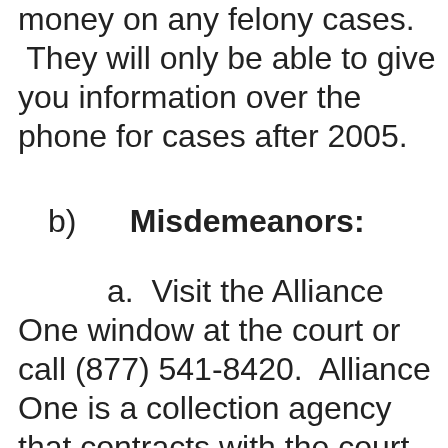money on any felony cases. They will only be able to give you information over the phone for cases after 2005.
b)   Misdemeanors:
a.  Visit the Alliance One window at the court or call (877) 541-8420.  Alliance One is a collection agency that contracts with the court to collect on overdue and unpaid fines and